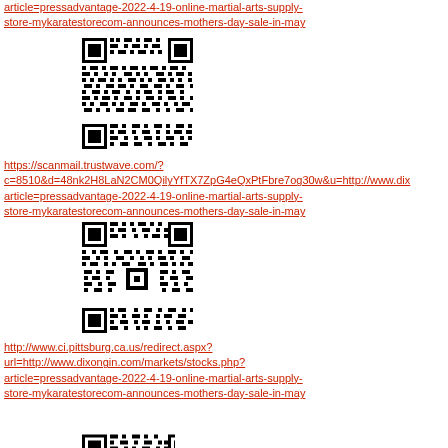article=pressadvantage-2022-4-19-online-martial-arts-supply-store-mykaratestorecom-announces-mothers-day-sale-in-may
[Figure (other): QR code image (first)]
https://scanmail.trustwave.com/?c=8510&d=48nk2H8LaN2CM0QilyYfTX7ZpG4eQxPtFbre7og30w&u=http://www.dixarticle=pressadvantage-2022-4-19-online-martial-arts-supply-store-mykaratestorecom-announces-mothers-day-sale-in-may
[Figure (other): QR code image (second)]
http://www.ci.pittsburg.ca.us/redirect.aspx?url=http://www.dixongin.com/markets/stocks.php?article=pressadvantage-2022-4-19-online-martial-arts-supply-store-mykaratestorecom-announces-mothers-day-sale-in-may
[Figure (other): QR code image (third, partial)]